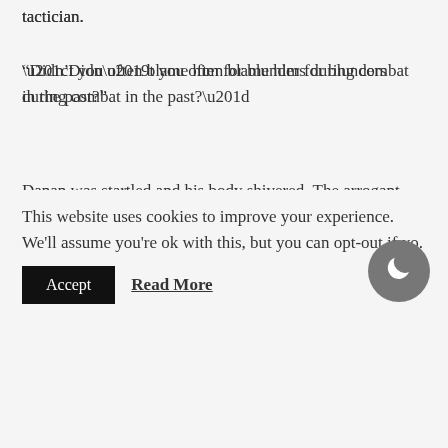tactician.
“Didn’t you often blame him for blunders during combat in the past?”
Danan was startled and his body shivered. The arrogant giant dropped his shoulders in shame.
“I have this kind of personality after all… I won’t calm
This website uses cookies to improve your experience. We'll assume you're ok with this, but you can opt-out if yo.
Accept
Read More